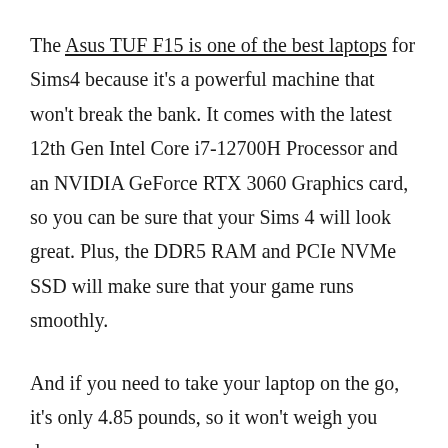The Asus TUF F15 is one of the best laptops for Sims4 because it's a powerful machine that won't break the bank. It comes with the latest 12th Gen Intel Core i7-12700H Processor and an NVIDIA GeForce RTX 3060 Graphics card, so you can be sure that your Sims 4 will look great. Plus, the DDR5 RAM and PCIe NVMe SSD will make sure that your game runs smoothly.
And if you need to take your laptop on the go, it's only 4.85 pounds, so it won't weigh you down.
One of the best things about the Asus TUF F15 is that it comes with a GPU MUX switch. This will